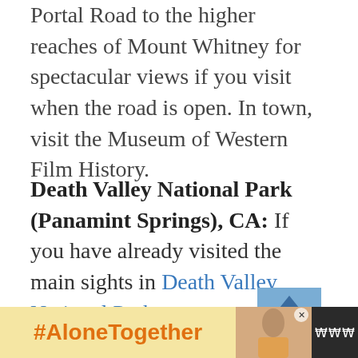Portal Road to the higher reaches of Mount Whitney for spectacular views if you visit when the road is open. In town, visit the Museum of Western Film History.
Death Valley National Park (Panamint Springs), CA:
If you have already visited the main sights in Death Valley National Park, or have the extra time for the western part of Death Valley N...
[Figure (screenshot): UI overlay with heart/like button showing 38, share button, and a WHAT'S NEXT panel for '12 Amazing Death Valley...']
[Figure (photo): Advertisement banner at bottom: #AloneTogether in orange on yellow background, photo of person eating, close button, and WWW logo on dark background]